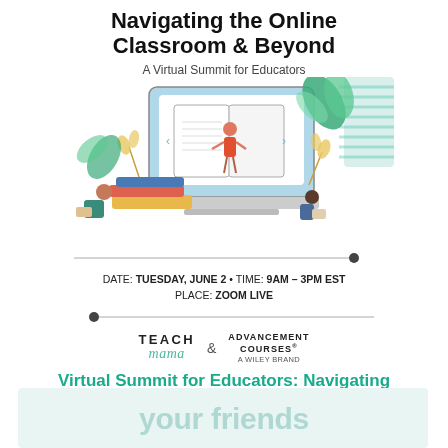Navigating the Online Classroom & Beyond
A Virtual Summit for Educators
[Figure (illustration): Illustration showing a teacher standing inside a large laptop/tablet screen displaying an open book, with two students reading nearby and decorative plants and books stacked around.]
DATE: TUESDAY, JUNE 2 • TIME: 9AM – 3PM EST
PLACE: ZOOM LIVE
[Figure (logo): Logos of TEACH mama and ADVANCEMENT COURSES (A Wiley Brand), connected by an ampersand.]
Virtual Summit for Educators: Navigating the Online Classroom & Beyond
your friends